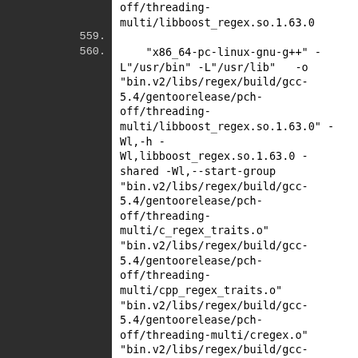559.
560.    "x86_64-pc-linux-gnu-g++" -L"/usr/bin" -L"/usr/lib"   -o "bin.v2/libs/regex/build/gcc-5.4/gentoorelease/pch-off/threading-multi/libboost_regex.so.1.63.0" -Wl,-h -Wl,libboost_regex.so.1.63.0 -shared -Wl,--start-group "bin.v2/libs/regex/build/gcc-5.4/gentoorelease/pch-off/threading-multi/c_regex_traits.o" "bin.v2/libs/regex/build/gcc-5.4/gentoorelease/pch-off/threading-multi/cpp_regex_traits.o" "bin.v2/libs/regex/build/gcc-5.4/gentoorelease/pch-off/threading-multi/cregex.o" "bin.v2/libs/regex/build/gcc-5.4/gentoorelease/pch-off/threading-multi/fileiter.o" "bin.v2/libs/regex/build/gcc-5.4/gentoorelease/pch-off/threading-multi/icu.o" "bin.v2/libs/regex/build/gcc-5.4/gentoorelease/pch-off/threading-multi/...